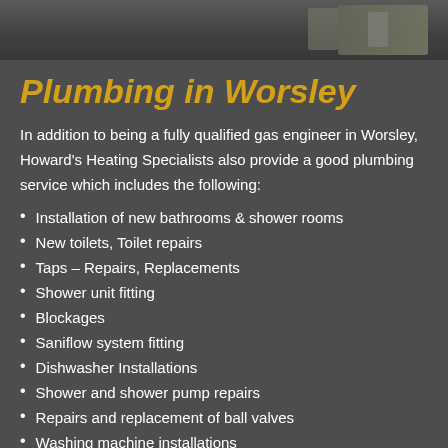[Figure (photo): Dark background photo strip showing a workshop or storage area with equipment and containers]
Plumbing in Worsley
In addition to being a fully qualified gas engineer in Worsley, Howard's Heating Specialists also provide a good plumbing service which includes the following:
Installation of new bathrooms & shower rooms
New toilets, Toilet repairs
Taps – Repairs, Replacements
Shower unit fitting
Blockages
Saniflow system fitting
Dishwasher Installations
Shower and shower pump repairs
Repairs and replacement of ball valves
Washing machine installations